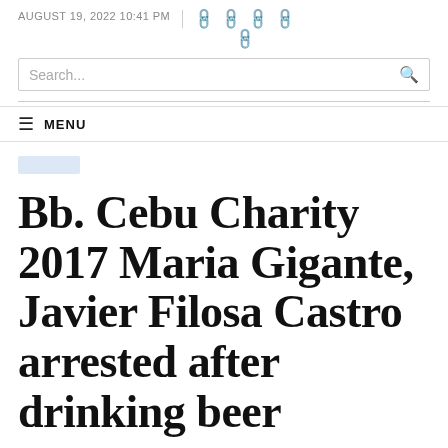AUGUST 19, 2022 10:41 PM
Search...
≡ MENU
Bb. Cebu Charity 2017 Maria Gigante, Javier Filosa Castro arrested after drinking beer